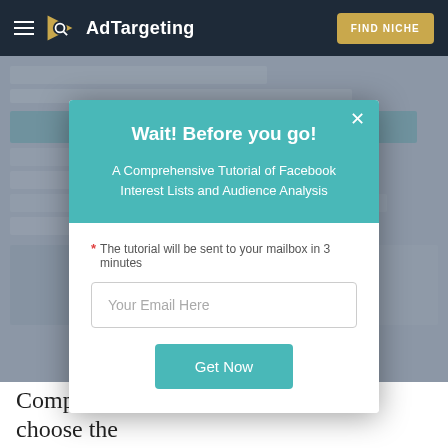AdTargeting — FIND NICHE
[Figure (screenshot): Blurred background screenshot of a web application interface with a modal overlay]
Wait! Before you go!
A Comprehensive Tutorial of Facebook Interest Lists and Audience Analysis
* The tutorial will be sent to your mailbox in 3 minutes
Your Email Here
Get Now
Compare interests (or keywords) and choose the